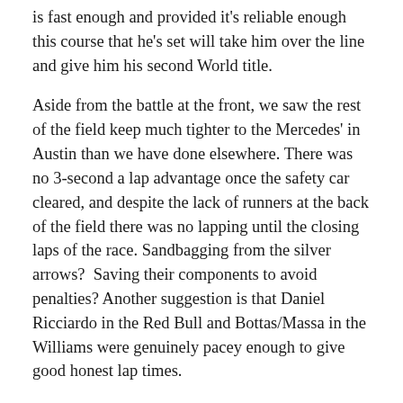is fast enough and provided it's reliable enough this course that he's set will take him over the line and give him his second World title.
Aside from the battle at the front, we saw the rest of the field keep much tighter to the Mercedes' in Austin than we have done elsewhere. There was no 3-second a lap advantage once the safety car cleared, and despite the lack of runners at the back of the field there was no lapping until the closing laps of the race. Sandbagging from the silver arrows?  Saving their components to avoid penalties? Another suggestion is that Daniel Ricciardo in the Red Bull and Bottas/Massa in the Williams were genuinely pacey enough to give good honest lap times.
This weekend in Interlagos could be a great levelling field for everyone, especially if the whole weekend is wet. The lap itself is short, with a single lap taking about 1min 10secs in qualifying trim. A lot of traffic is always an issue, but without Marussia and Caterham perhaps 18 cars will bring closer racing.